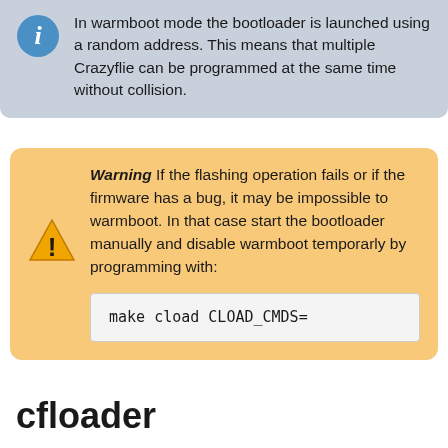In warmboot mode the bootloader is launched using a random address. This means that multiple Crazyflie can be programmed at the same time without collision.
Warning If the flashing operation fails or if the firmware has a bug, it may be impossible to warmboot. In that case start the bootloader manually and disable warmboot temporarly by programming with:
make cload CLOAD_CMDS=
cfloader